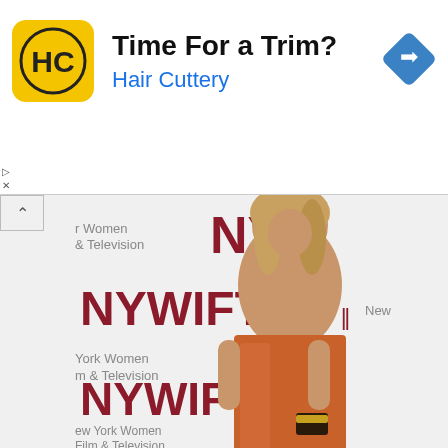[Figure (infographic): Hair Cuttery advertisement banner with yellow logo showing HC letters, title 'Time For a Trim?' and subtitle 'Hair Cuttery' in blue, with navigation arrow icon on right]
[Figure (photo): Woman in orange/copper strapless satin dress standing in front of NYWIFT (New York Women in Film & Television) step-and-repeat backdrop at an event]